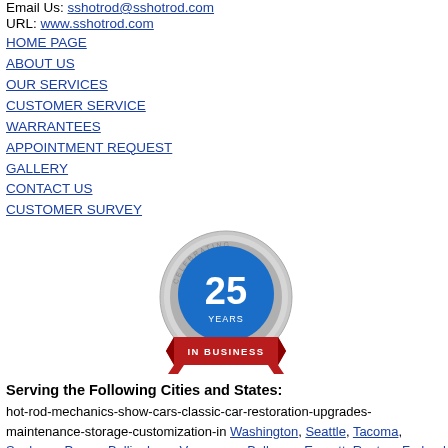Email Us: sshotrod@sshotrod.com
URL: www.sshotrod.com
HOME PAGE
ABOUT US
OUR SERVICES
CUSTOMER SERVICE
WARRANTEES
APPOINTMENT REQUEST
GALLERY
CONTACT US
CUSTOMER SURVEY
[Figure (logo): Celebrating 25 Years In Business badge/seal with blue circle center and red ribbon banner at bottom]
Serving the Following Cities and States:
hot-rod-mechanics-show-cars-classic-car-restoration-upgrades-maintenance-storage-customization-in Washington, Seattle, Tacoma, Spokane, Pasco, Bellingham, Vancouver, Bellevue, Everett, Renton, Federal Way, Yakima, Kirkland, Auburn, Oregon,